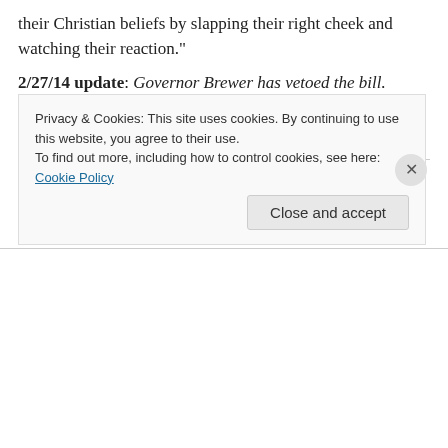their Christian beliefs by slapping their right cheek and watching their reaction."
2/27/14 update: Governor Brewer has vetoed the bill. Those unfortunate business owners will be forced to find another way to discriminate against gays.
Rate this:
👍 6 👎 0 ℹ Rate This
Privacy & Cookies: This site uses cookies. By continuing to use this website, you agree to their use.
To find out more, including how to control cookies, see here: Cookie Policy